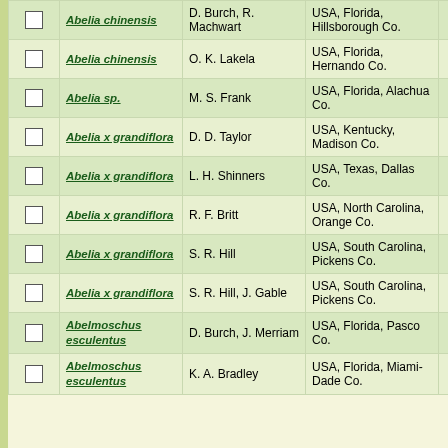|  | Species | Collector | Location | Cam |  |
| --- | --- | --- | --- | --- | --- |
| ☐ | Abelia chinensis | D. Burch, R. Machwart | USA, Florida, Hillsborough Co. | 📷 |  |
| ☐ | Abelia chinensis | O. K. Lakela | USA, Florida, Hernando Co. | 📷 |  |
| ☐ | Abelia sp. | M. S. Frank | USA, Florida, Alachua Co. | 📷 |  |
| ☐ | Abelia x grandiflora | D. D. Taylor | USA, Kentucky, Madison Co. | 📷 | 🌿 |
| ☐ | Abelia x grandiflora | L. H. Shinners | USA, Texas, Dallas Co. | 📷 | 🌿 |
| ☐ | Abelia x grandiflora | R. F. Britt | USA, North Carolina, Orange Co. | 📷 | 🌿 |
| ☐ | Abelia x grandiflora | S. R. Hill | USA, South Carolina, Pickens Co. | 📷 | 🌿 |
| ☐ | Abelia x grandiflora | S. R. Hill, J. Gable | USA, South Carolina, Pickens Co. | 📷 | 🌿 |
| ☐ | Abelmoschus esculentus | D. Burch, J. Merriam | USA, Florida, Pasco Co. | 📷 | 🌿 |
| ☐ | Abelmoschus esculentus | K. A. Bradley | USA, Florida, Miami-Dade Co. | 📷 |  |